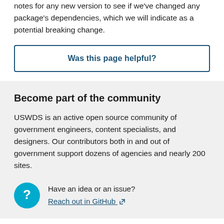notes for any new version to see if we've changed any package's dependencies, which we will indicate as a potential breaking change.
Was this page helpful?
Become part of the community
USWDS is an active open source community of government engineers, content specialists, and designers. Our contributors both in and out of government support dozens of agencies and nearly 200 sites.
Have an idea or an issue? Reach out in GitHub